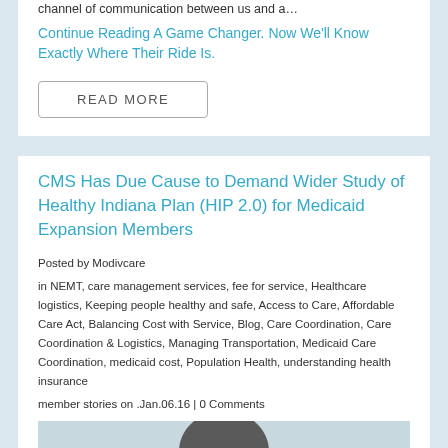channel of communication between us and a…
Continue Reading A Game Changer. Now We'll Know Exactly Where Their Ride Is.
READ MORE
CMS Has Due Cause to Demand Wider Study of Healthy Indiana Plan (HIP 2.0) for Medicaid Expansion Members
Posted by Modivcare
in NEMT, care management services, fee for service, Healthcare logistics, Keeping people healthy and safe, Access to Care, Affordable Care Act, Balancing Cost with Service, Blog, Care Coordination, Care Coordination & Logistics, Managing Transportation, Medicaid Care Coordination, medicaid cost, Population Health, understanding health insurance
member stories on .Jan.06.16 | 0 Comments
[Figure (photo): Partial photo of a person, showing top of head, bottom of image]